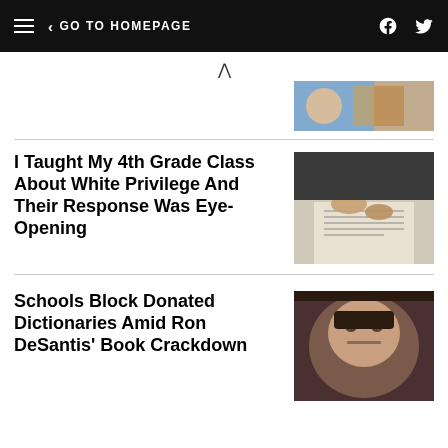< GO TO HOMEPAGE
[Figure (photo): Partial view of a person's hands with blue clothing, top right corner]
I Taught My 4th Grade Class About White Privilege And Their Response Was Eye-Opening
[Figure (photo): Hands pointing at a paper document on a desk]
Schools Block Donated Dictionaries Amid Ron DeSantis' Book Crackdown
[Figure (photo): Close-up portrait of Ron DeSantis looking serious]